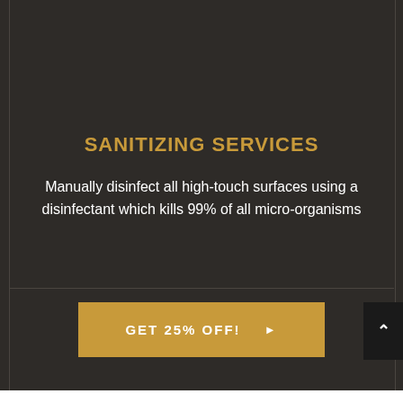[Figure (photo): Photo of an interior space, possibly a classroom or office with desks and chairs and a staircase railing visible]
SANITIZING SERVICES
Manually disinfect all high-touch surfaces using a disinfectant which kills 99% of all micro-organisms
GET 25% OFF!